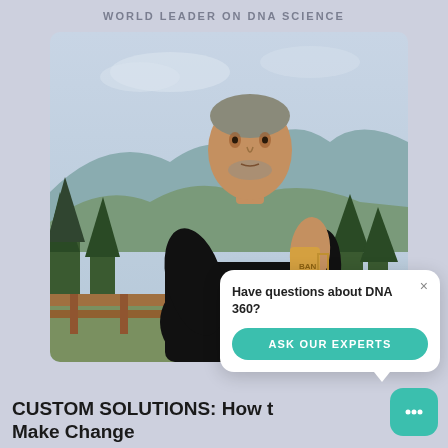WORLD LEADER ON DNA SCIENCE
[Figure (photo): Man in black polo shirt holding a mug with a scenic outdoor backdrop of trees, mountains, and a wooden deck railing]
Have questions about DNA 360?
ASK OUR EXPERTS
CUSTOM SOLUTIONS: How to Make Change